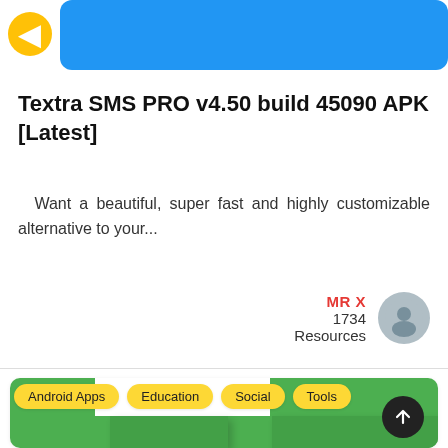[Figure (screenshot): Blue navigation bar with yellow circle icon at top of mobile app screen]
Textra SMS PRO v4.50 build 45090 APK [Latest]
Want a beautiful, super fast and highly customizable alternative to your...
MR X
1734
Resources
[Figure (screenshot): Green app card with yellow category tags: Android Apps, Education, Social, Tools and a large T logo on green background]